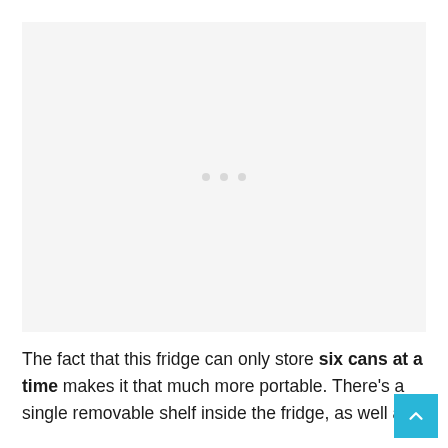[Figure (other): Large image area placeholder with three dots indicating a slideshow or loading state, on a light gray background]
The fact that this fridge can only store six cans at a time makes it that much more portable. There's a single removable shelf inside the fridge, as well as a